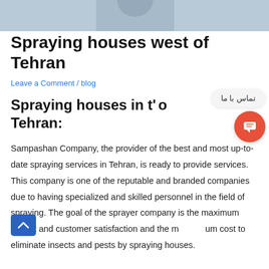[Figure (photo): Partial photo of a person, cropped at top of page]
Spraying houses west of Tehran
Leave a Comment / blog
Spraying houses in the west of Tehran:
Sampashan Company, the provider of the best and most up-to-date spraying services in Tehran, is ready to provide services. This company is one of the reputable and branded companies due to having specialized and skilled personnel in the field of spraying. The goal of the sprayer company is the maximum impact and customer satisfaction and the minimum cost to eliminate insects and pests by spraying houses.